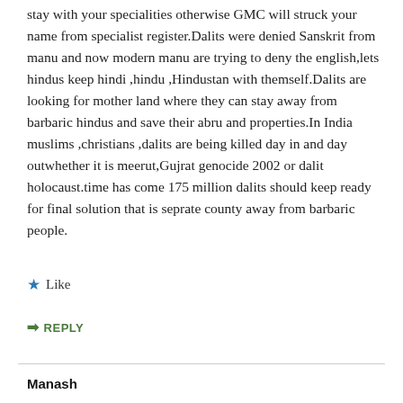stay with your specialities otherwise GMC will struck your name from specialist register.Dalits were denied Sanskrit from manu and now modern manu are trying to deny the english,lets hindus keep hindi ,hindu ,Hindustan with themself.Dalits are looking for mother land where they can stay away from barbaric hindus and save their abru and properties.In India muslims ,christians ,dalits are being killed day in and day outwhether it is meerut,Gujrat genocide 2002 or dalit holocaust.time has come 175 million dalits should keep ready for final solution that is seprate county away from barbaric people.
Like
REPLY
Manash